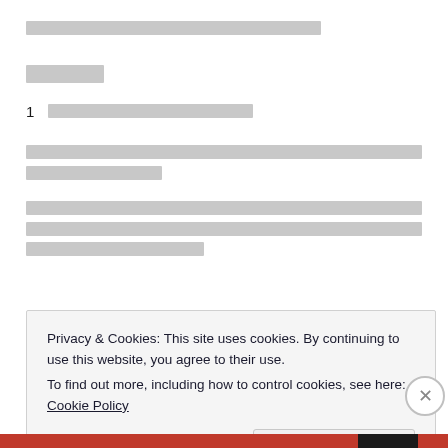[redacted text block - long line]
[redacted header]
1   [redacted list item text]
[redacted paragraph text - two lines]
[redacted paragraph text - three lines]
Privacy & Cookies: This site uses cookies. By continuing to use this website, you agree to their use.
To find out more, including how to control cookies, see here: Cookie Policy